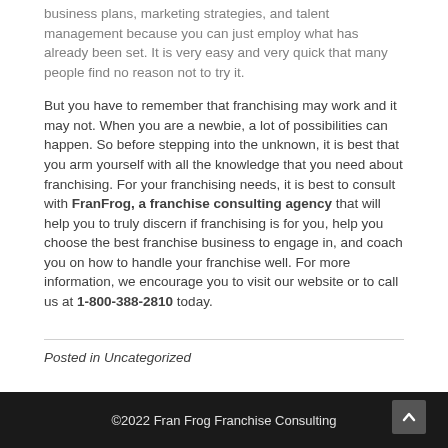business plans, marketing strategies, and talent management because you can just employ what has already been set. It is very easy and very quick that many people find no reason not to try it.
But you have to remember that franchising may work and it may not. When you are a newbie, a lot of possibilities can happen. So before stepping into the unknown, it is best that you arm yourself with all the knowledge that you need about franchising. For your franchising needs, it is best to consult with FranFrog, a franchise consulting agency that will help you to truly discern if franchising is for you, help you choose the best franchise business to engage in, and coach you on how to handle your franchise well. For more information, we encourage you to visit our website or to call us at 1-800-388-2810 today.
Posted in Uncategorized
©2022 Fran Frog Franchise Consulting